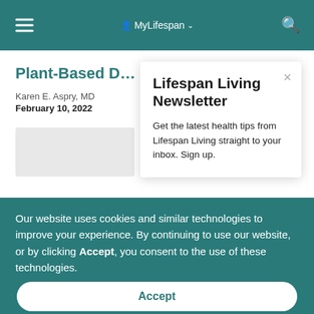MyLifespan
Plant-Based D…
Karen E. Aspry, MD
February 10, 2022
Lifespan Living Newsletter
Get the latest health tips from Lifespan Living straight to your inbox. Sign up.
Our website uses cookies and similar technologies to improve your experience. By continuing to use our website, or by clicking Accept, you consent to the use of these technologies.
Accept